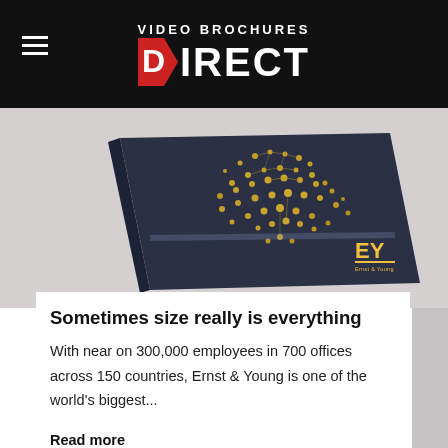VIDEO BROCHURES DIRECT
[Figure (photo): A dark navy blue video brochure lying on a light grey surface. The cover features a golden light bulb design made of dots and lines. Bottom right shows the EY (Ernst & Young) logo in gold and yellow.]
Sometimes size really is everything
With near on 300,000 employees in 700 offices across 150 countries, Ernst & Young is one of the world's biggest...
Read more